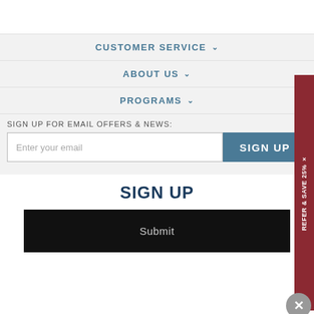CUSTOMER SERVICE
ABOUT US
PROGRAMS
SIGN UP FOR EMAIL OFFERS & NEWS:
Enter your email
SIGN UP
REFER & SAVE 25%
SIGN UP
Submit